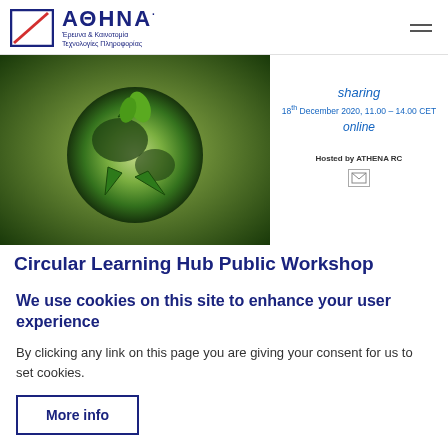[Figure (logo): ATHENA Research & Innovation Center logo with blue square frame and red diagonal slash, text ΑΘΗΝΑ in blue bold letters, subtitle Έρευνα & Καινοτομία Τεχνολογίες Πληροφορίας]
[Figure (photo): Photo of Earth globe with green recycling arrows and plants, representing circular economy / sustainability theme]
sharing
18th December 2020, 11.00 – 14.00 CET
online
Hosted by ATHENA RC
Circular Learning Hub Public Workshop
We use cookies on this site to enhance your user experience
By clicking any link on this page you are giving your consent for us to set cookies.
More info
OK, I agree
Decline